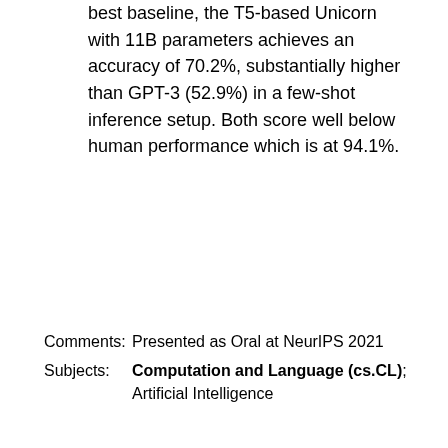best baseline, the T5-based Unicorn with 11B parameters achieves an accuracy of 70.2%, substantially higher than GPT-3 (52.9%) in a few-shot inference setup. Both score well below human performance which is at 94.1%.
Comments: Presented as Oral at NeurIPS 2021
Subjects: Computation and Language (cs.CL); Artificial Intelligence